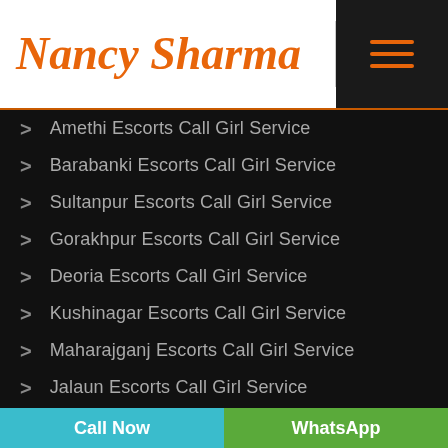[Figure (logo): Nancy Sharma logo in orange cursive/script font with orange underline, followed by a dark hamburger menu button with three orange horizontal lines]
Amethi Escorts Call Girl Service
Barabanki Escorts Call Girl Service
Sultanpur Escorts Call Girl Service
Gorakhpur Escorts Call Girl Service
Deoria Escorts Call Girl Service
Kushinagar Escorts Call Girl Service
Maharajganj Escorts Call Girl Service
Jalaun Escorts Call Girl Service
Call Now | WhatsApp